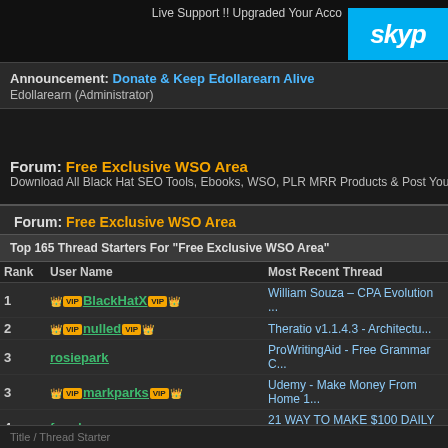[Figure (screenshot): Top banner with Skype logo and 'Live Support !! Upgraded Your Acco...' text]
Announcement: Donate & Keep Edollarearn Alive
Edollarearn (Administrator)
Forum: Free Exclusive WSO Area
Download All Black Hat SEO Tools, Ebooks, WSO, PLR MRR Products & Post Your Giveaw...
Forum: Free Exclusive WSO Area
Top 165 Thread Starters For "Free Exclusive WSO Area"
| Rank | User Name | Most Recent Thread |
| --- | --- | --- |
| 1 | 🏆 BlackHatX 🏆 | William Souza – CPA Evolution ... |
| 2 | 🏆 nulled 🏆 | Theratio v1.1.4.3 - Architectu... |
| 3 | rosiepark | ProWritingAid - Free Grammar C... |
| 3 | 🏆 markparks 🏆 | Udemy - Make Money From Home 1... |
| 4 | freadxe | 21 WAY TO MAKE $100 DAILY WITH... |
| 5 | 🏆 tommyporter 🏆 | How To Make Money Online |
| 6 | 🏆 saramoreira 🏆 | [HQ] [GUIDE] Make 5$ Repeatabl... |
Title / Thread Starter